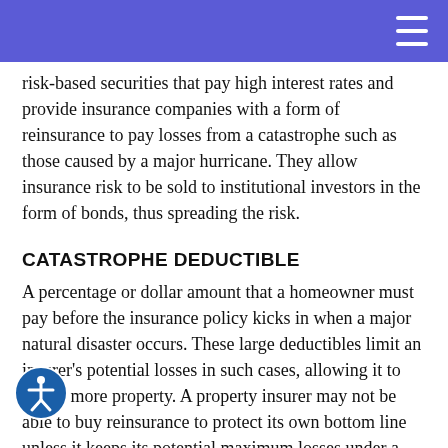(hamburger menu icon)
risk-based securities that pay high interest rates and provide insurance companies with a form of reinsurance to pay losses from a catastrophe such as those caused by a major hurricane. They allow insurance risk to be sold to institutional investors in the form of bonds, thus spreading the risk.
CATASTROPHE DEDUCTIBLE
A percentage or dollar amount that a homeowner must pay before the insurance policy kicks in when a major natural disaster occurs. These large deductibles limit an insurer's potential losses in such cases, allowing it to insure more property. A property insurer may not be able to buy reinsurance to protect its own bottom line unless it keeps its potential maximum losses under a certain level.